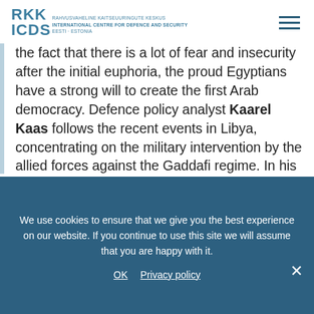RKK ICDS — RAHVUSVAHELINE KAITSEUURINGUTE KESKUS — INTERNATIONAL CENTRE FOR DEFENCE AND SECURITY — EESTI · ESTONIA
the fact that there is a lot of fear and insecurity after the initial euphoria, the proud Egyptians have a strong will to create the first Arab democracy. Defence policy analyst Kaarel Kaas follows the recent events in Libya, concentrating on the military intervention by the allied forces against the Gaddafi regime. In his opinion, the operation, which is called ‘Odyssey Dawn’, has proceeded without any great surprises. At the same time, Kaas claims that given the nature of the conflict and the geographical characteristics of Libya, the conflict may linger for a long time, even if the military
We use cookies to ensure that we give you the best experience on our website. If you continue to use this site we will assume that you are happy with it.
OK  Privacy policy